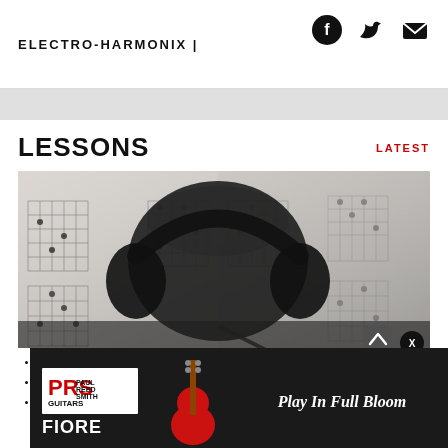ELECTRO-HARMONIX |
LESSONS
LATEST
[Figure (photo): Headphones resting on guitar chord/tab sheet music, black and white photo]
[Figure (infographic): PRS Paul Reed Smith Guitars advertisement banner - FIORE model, Play In Full Bloom tagline, red electric guitar]
How B...
5 Ste...
How Bach Can Make You a Better Guitarist